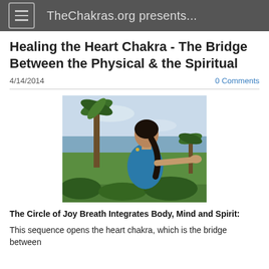TheChakras.org presents...
Healing the Heart Chakra - The Bridge Between the Physical & the Spiritual
4/14/2014
0 Comments
[Figure (photo): Woman in blue top with arms extended forward, standing outdoors near palm trees with ocean in background, performing a yoga or breathwork pose.]
The Circle of Joy Breath Integrates Body, Mind and Spirit:
This sequence opens the heart chakra, which is the bridge between